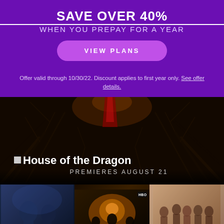SAVE OVER 40%
WHEN YOU PREPAY FOR A YEAR
VIEW PLANS
Offer valid through 10/30/22. Discount applies to first year only. See offer details.
[Figure (photo): House of the Dragon hero banner — dark forest/tree background with a red-cloaked figure, title and premiere date]
[Figure (photo): Three movie/TV show thumbnails side by side: Harry Potter, Fantastic Beasts: The Secrets of Dumbledore, and Friends]